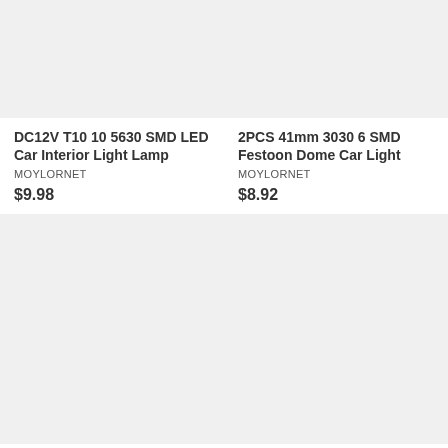[Figure (photo): Product image placeholder for DC12V T10 10 5630 SMD LED Car Interior Light Lamp (light gray rectangle)]
DC12V T10 10 5630 SMD LED Car Interior Light Lamp
MOYLORNET
$9.98
[Figure (photo): Product image placeholder for 2PCS 41mm 3030 6 SMD Festoon Dome Car Light (light gray rectangle)]
2PCS 41mm 3030 6 SMD Festoon Dome Car Light
MOYLORNET
$8.92
[Figure (photo): Product image placeholder, bottom left (light gray rectangle)]
[Figure (photo): Product image placeholder, bottom right (light gray rectangle)]